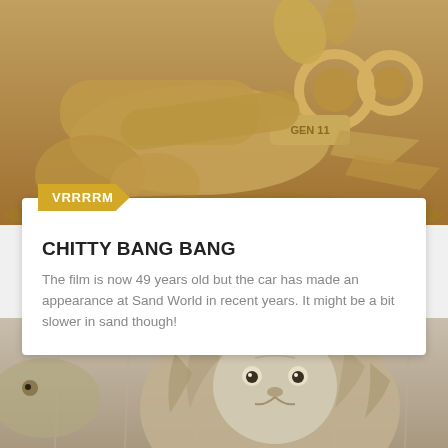[Figure (photo): Sand sculpture of Chitty Chitty Bang Bang car with 'GEN 11' visible on the front, surrounded by other sand sculptures]
VRRRRM
CHITTY BANG BANG
The film is now 49 years old but the car has made an appearance at Sand World in recent years. It might be a bit slower in sand though!
[Figure (photo): Sand sculpture of a lion's face with detailed mane, partially cropped at bottom of page]